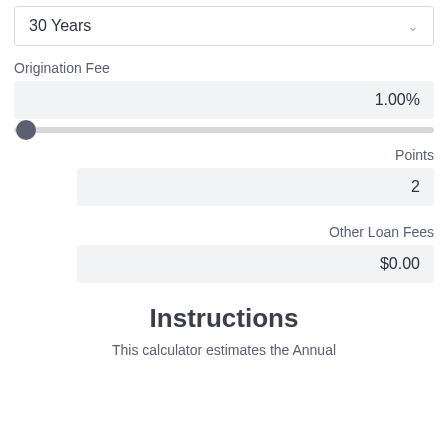30 Years
Origination Fee
1.00%
Points
2
Other Loan Fees
$0.00
Instructions
This calculator estimates the Annual